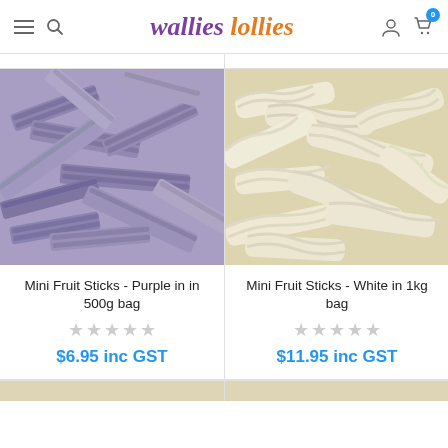wallies lollies — navigation header with hamburger, search, logo, user icon, cart (0)
[Figure (photo): Purple mini fruit sticks candy piled together, close-up photo]
[Figure (photo): White mini fruit sticks candy piled together, close-up photo]
Mini Fruit Sticks - Purple in in 500g bag
$6.95 inc GST
Mini Fruit Sticks - White in 1kg bag
$11.95 inc GST